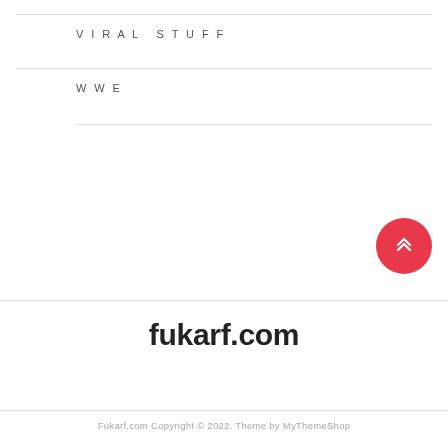VIRAL STUFF
WWE
fukarf.com
Fukarf.com Copyright © 2022. Theme by MyThemeShop